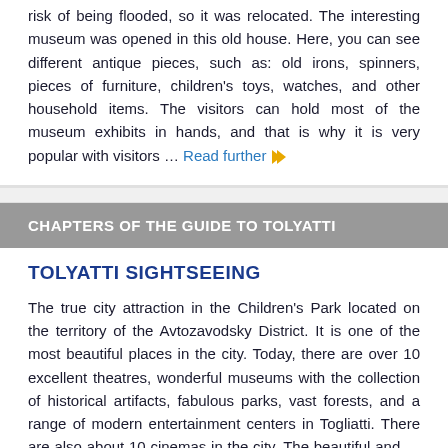risk of being flooded, so it was relocated. The interesting museum was opened in this old house. Here, you can see different antique pieces, such as: old irons, spinners, pieces of furniture, children's toys, watches, and other household items. The visitors can hold most of the museum exhibits in hands, and that is why it is very popular with visitors … Read further »»
CHAPTERS OF THE GUIDE TO TOLYATTI
TOLYATTI SIGHTSEEING
The true city attraction in the Children's Park located on the territory of the Avtozavodsky District. It is one of the most beautiful places in the city. Today, there are over 10 excellent theatres, wonderful museums with the collection of historical artifacts, fabulous parks, vast forests, and a range of modern entertainment centers in Togliatti. There are also about 10 cinemas in the city. The beautiful and … Open »»